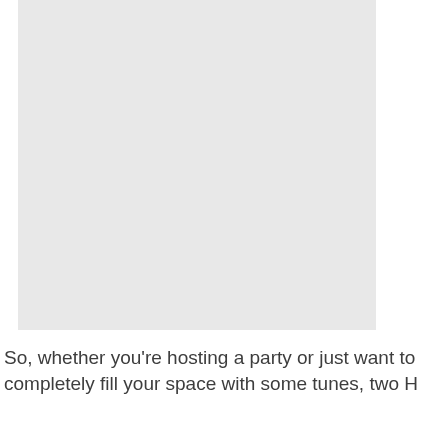[Figure (photo): A large light gray rectangular placeholder image occupying the upper portion of the page.]
So, whether you're hosting a party or just want to completely fill your space with some tunes, two HomePod speakers can automatically do just that